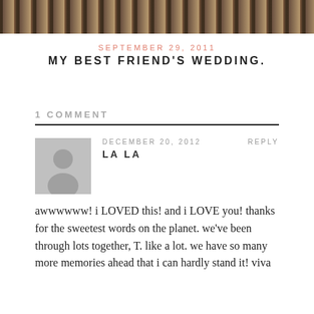[Figure (photo): Cropped bottom portion of a wedding photo showing figures near what appears to be a wooden fence or railing]
SEPTEMBER 29, 2011
MY BEST FRIEND'S WEDDING.
1 COMMENT
DECEMBER 20, 2012
REPLY
LA LA
awwwwww! i LOVED this! and i LOVE you! thanks for the sweetest words on the planet. we've been through lots together, T. like a lot. we have so many more memories ahead that i can hardly stand it! viva